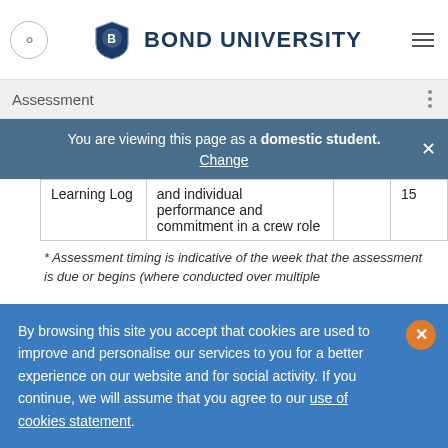Bond University
Assessment
You are viewing this page as a domestic student. Change
| Learning Log | and individual performance and commitment in a crew role |  | 15 |
* Assessment timing is indicative of the week that the assessment is due or begins (where conducted over multiple
By browsing this site you accept that cookies are used to improve and personalise our services to you for a better experience on our website and for social activity. If you continue, we will assume that you agree to our use of cookies statement.